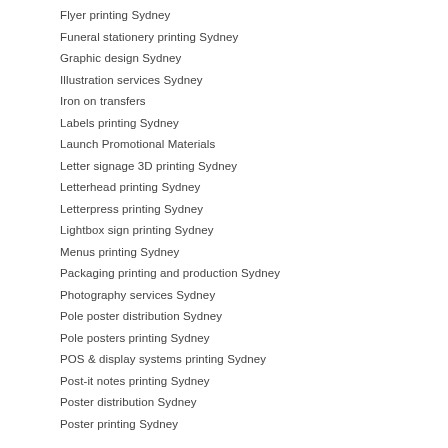Flyer printing Sydney
Funeral stationery printing Sydney
Graphic design Sydney
Illustration services Sydney
Iron on transfers
Labels printing Sydney
Launch Promotional Materials
Letter signage 3D printing Sydney
Letterhead printing Sydney
Letterpress printing Sydney
Lightbox sign printing Sydney
Menus printing Sydney
Packaging printing and production Sydney
Photography services Sydney
Pole poster distribution Sydney
Pole posters printing Sydney
POS & display systems printing Sydney
Post-it notes printing Sydney
Poster distribution Sydney
Poster printing Sydney